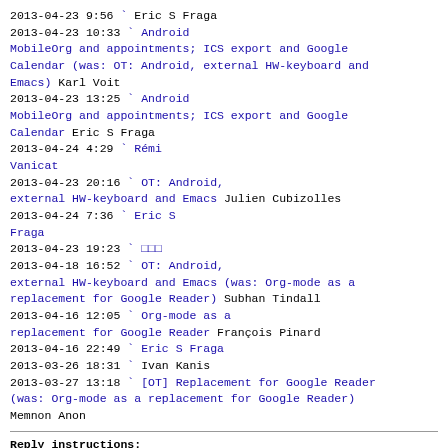2013-04-23  9:56                          Eric S Fraga
2013-04-23 10:33                           Android MobileOrg and appointments; ICS export and Google Calendar (was: OT: Android, external HW-keyboard and Emacs) Karl Voit
2013-04-23 13:25                           Android MobileOrg and appointments; ICS export and Google Calendar Eric S Fraga
2013-04-24  4:29                           Rémi Vanicat
2013-04-23 20:16                          OT: Android, external HW-keyboard and Emacs Julien Cubizolles
2013-04-24  7:36                           Eric S Fraga
2013-04-23 19:23                           □□□
2013-04-18 16:52                           OT: Android, external HW-keyboard and Emacs (was: Org-mode as a replacement for Google Reader) Subhan Tindall
2013-04-16 12:05                           Org-mode as a replacement for Google Reader François Pinard
2013-04-16 22:49                           Eric S Fraga
2013-03-26 18:31  Ivan Kanis
2013-03-27 13:18  [OT] Replacement for Google Reader (was: Org-mode as a replacement for Google Reader) Memnon Anon
Reply instructions:
You may reply publicly to this message via plain-text